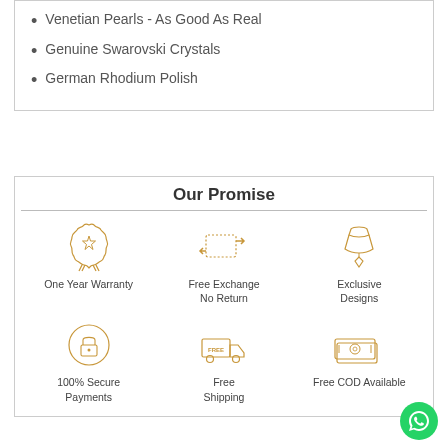Venetian Pearls - As Good As Real
Genuine Swarovski Crystals
German Rhodium Polish
Our Promise
[Figure (infographic): Our Promise section with 6 icons and labels: One Year Warranty (award badge), Free Exchange No Return (exchange arrows), Exclusive Designs (necklace mannequin), 100% Secure Payments (lock), Free Shipping (delivery truck), Free COD Available (cash notes)]